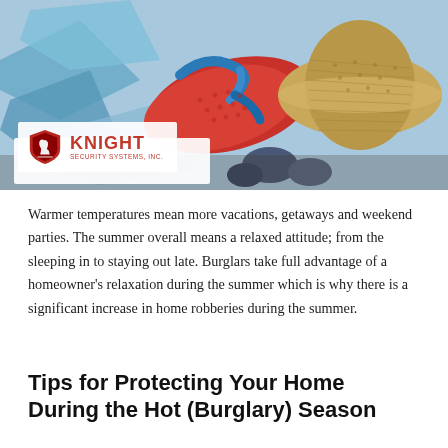[Figure (photo): Summer vacation items: red flip-flops, a straw hat, blue envelopes/papers on a wooden surface. Knight Security Systems, Inc. logo overlaid in lower-left corner.]
Warmer temperatures mean more vacations, getaways and weekend parties. The summer overall means a relaxed attitude; from the sleeping in to staying out late. Burglars take full advantage of a homeowner’s relaxation during the summer which is why there is a significant increase in home robberies during the summer.
Tips for Protecting Your Home During the Hot (Burglary) Season